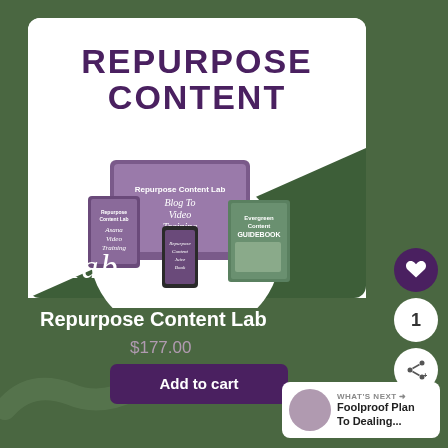[Figure (illustration): Product mockup showing Repurpose Content Lab digital course materials including tablet, phone, and guidebook with purple/mauve color scheme]
REPURPOSE CONTENT
lab
Repurpose Content Lab
$177.00
Add to cart
WHAT'S NEXT → Foolproof Plan To Dealing...